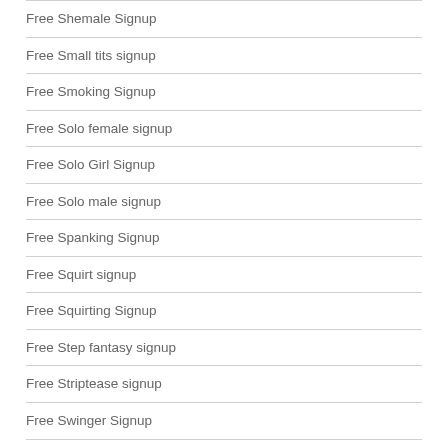Free Shemale Signup
Free Small tits signup
Free Smoking Signup
Free Solo female signup
Free Solo Girl Signup
Free Solo male signup
Free Spanking Signup
Free Squirt signup
Free Squirting Signup
Free Step fantasy signup
Free Striptease signup
Free Swinger Signup
Free Tattooed women signup
Free Teen Signup